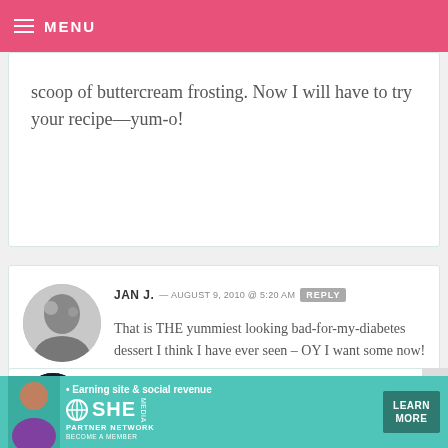☰ MENU
scoop of buttercream frosting. Now I will have to try your recipe—yum-o!
JAN J. — AUGUST 9, 2010 @ 5:20 AM  REPLY
That is THE yummiest looking bad-for-my-diabetes dessert I think I have ever seen – OY I want some now!
AI-CHAN — AUGUST 9, 2010 @ 5:17 AM  REPLY
[Figure (infographic): SHE Partner Network advertisement banner with text: Earning site & social revenue, SHE logo, PARTNER NETWORK, BECOME A MEMBER, LEARN MORE button]